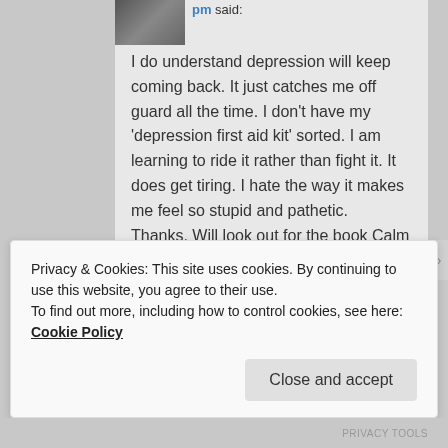pm said:
I do understand depression will keep coming back. It just catches me off guard all the time. I don't have my 'depression first aid kit' sorted. I am learning to ride it rather than fight it. It does get tiring. I hate the way it makes me feel so stupid and pathetic.
Thanks. Will look out for the book Calm the Fuck Down by Sarah Knight.
Everything is eBook atm. The
Privacy & Cookies: This site uses cookies. By continuing to use this website, you agree to their use.
To find out more, including how to control cookies, see here: Cookie Policy
Close and accept